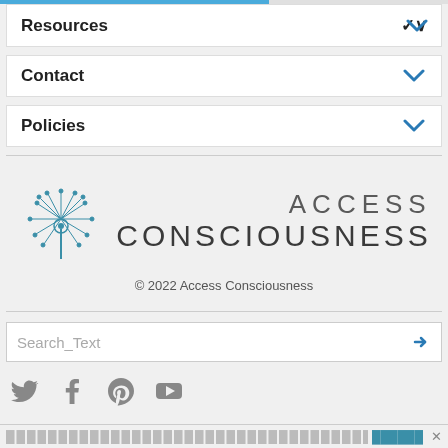Resources
Contact
Policies
[Figure (logo): Access Consciousness logo with dandelion illustration and text ACCESS CONSCIOUSNESS]
© 2022 Access Consciousness
Search_Text
[Figure (infographic): Social media icons: Twitter, Facebook, Pinterest, YouTube]
████████████████████████████████████████████████████ ██████